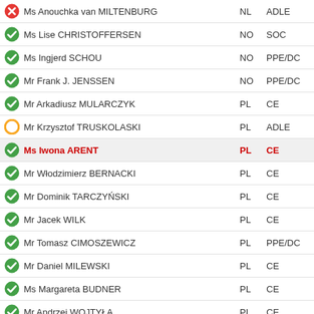Ms Anouchka van MILTENBURG | NL | ADLE | icon: red-x
Ms Lise CHRISTOFFERSEN | NO | SOC | icon: green-check
Ms Ingjerd SCHOU | NO | PPE/DC | icon: green-check
Mr Frank J. JENSSEN | NO | PPE/DC | icon: green-check
Mr Arkadiusz MULARCZYK | PL | CE | icon: green-check
Mr Krzysztof TRUSKOLASKI | PL | ADLE | icon: yellow-circle
Ms Iwona ARENT | PL | CE | icon: green-check | highlighted
Mr Włodzimierz BERNACKI | PL | CE | icon: green-check
Mr Dominik TARCZYŃSKI | PL | CE | icon: green-check
Mr Jacek WILK | PL | CE | icon: green-check
Mr Tomasz CIMOSZEWICZ | PL | PPE/DC | icon: green-check
Mr Daniel MILEWSKI | PL | CE | icon: green-check
Ms Margareta BUDNER | PL | CE | icon: green-check
Mr Andrzej WOJTYŁA | PL | CE | icon: green-check
Mr Duarte MARQUES | PT | PPE/DC | icon: yellow-circle
Mr Attila KORODI | RO | PPE/DC | icon: green-check
Ms Borjana ÅBERG | SE | PPE/DC | icon: green-check